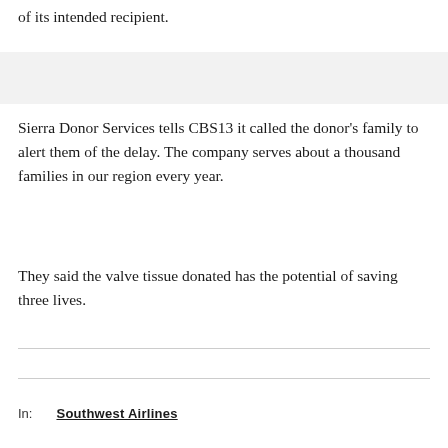of its intended recipient.
Sierra Donor Services tells CBS13 it called the donor's family to alert them of the delay. The company serves about a thousand families in our region every year.
They said the valve tissue donated has the potential of saving three lives.
In:  Southwest Airlines